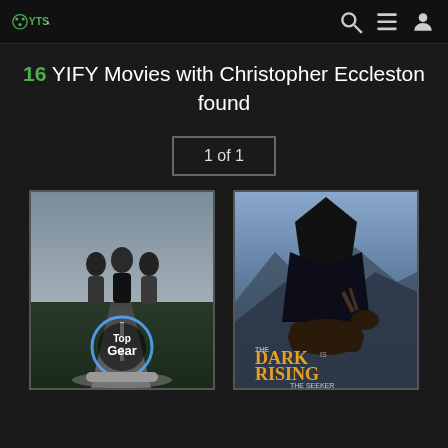YTS.AC
16 YIFY Movies with Christopher Eccleston found
1 of 1
[Figure (photo): Movie poster for Top Gear showing three men standing on a road with a car, with the Top Gear logo]
[Figure (photo): Movie poster for The Dark Is Rising: The Seeker showing a dark hooded figure on horseback with mystical imagery]